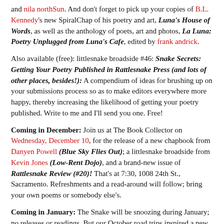and nila northSun. And don't forget to pick up your copies of B.L. Kennedy's new SpiralChap of his poetry and art, Luna's House of Words, as well as the anthology of poets, art and photos, La Luna: Poetry Unplugged from Luna's Cafe, edited by frank andrick.
Also available (free): littlesnake broadside #46: Snake Secrets: Getting Your Poetry Published in Rattlesnake Press (and lots of other places, besides!): A compendium of ideas for brushing up on your submissions process so as to make editors everywhere more happy, thereby increasing the likelihood of getting your poetry published. Write to me and I'll send you one. Free!
Coming in December: Join us at The Book Collector on Wednesday, December 10, for the release of a new chapbook from Danyen Powell (Blue Sky Flies Out); a littlesnake broadside from Kevin Jones (Low-Rent Dojo), and a brand-new issue of Rattlesnake Review (#20)! That's at 7:30, 1008 24th St., Sacramento. Refreshments and a read-around will follow; bring your own poems or somebody else's.
Coming in January: The Snake will be snoozing during January; no releases or readings. But our October road trips inspired a new